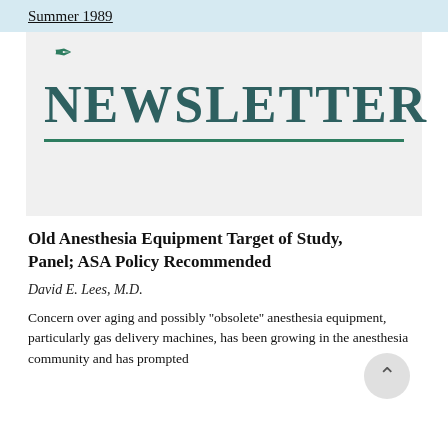Summer 1989
[Figure (illustration): Newsletter masthead with green leaf logo and large bold teal NEWSLETTER text with green underline rule, on a light gray background]
Old Anesthesia Equipment Target of Study, Panel; ASA Policy Recommended
David E. Lees, M.D.
Concern over aging and possibly ''obsolete'' anesthesia equipment, particularly gas delivery machines, has been growing in the anesthesia community and has prompted the...